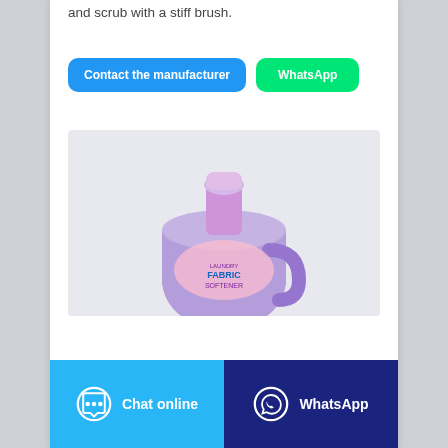and scrub with a stiff brush.
[Figure (screenshot): Two buttons: 'Contact the manufacturer' (blue) and 'WhatsApp' (green)]
[Figure (photo): Purple laundry detergent bottle with colorful label, viewed from above showing cap and upper body]
[Figure (screenshot): Two footer buttons: 'Chat online' (light blue with chat icon) and 'WhatsApp' (dark blue with WhatsApp icon)]